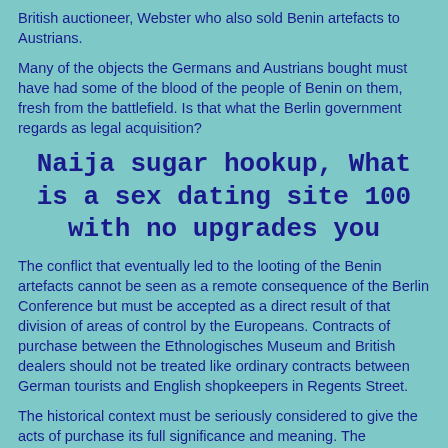British auctioneer, Webster who also sold Benin artefacts to Austrians.
Many of the objects the Germans and Austrians bought must have had some of the blood of the people of Benin on them, fresh from the battlefield. Is that what the Berlin government regards as legal acquisition?
Naija sugar hookup, What is a sex dating site 100 with no upgrades you
The conflict that eventually led to the looting of the Benin artefacts cannot be seen as a remote consequence of the Berlin Conference but must be accepted as a direct result of that division of areas of control by the Europeans. Contracts of purchase between the Ethnologisches Museum and British dealers should not be treated like ordinary contracts between German tourists and English shopkeepers in Regents Street.
The historical context must be seriously considered to give the acts of purchase its full significance and meaning. The